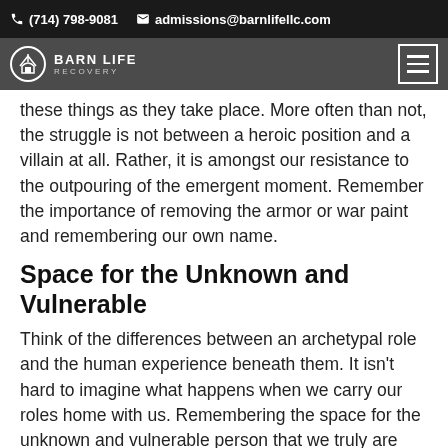(714) 798-9081  admissions@barnlifellc.com
BARN LIFE RECOVERY
these things as they take place. More often than not, the struggle is not between a heroic position and a villain at all. Rather, it is amongst our resistance to the outpouring of the emergent moment. Remember the importance of removing the armor or war paint and remembering our own name.
Space for the Unknown and Vulnerable
Think of the differences between an archetypal role and the human experience beneath them. It isn't hard to imagine what happens when we carry our roles home with us. Remembering the space for the unknown and vulnerable person that we truly are engenders us with the room for the archetypes to belong to psyche and not our identities and self-worth. After all, from this perspective, it is inflation and loss of the human experience that ultimately estranges us from the soulful experience to begin with. Not only do